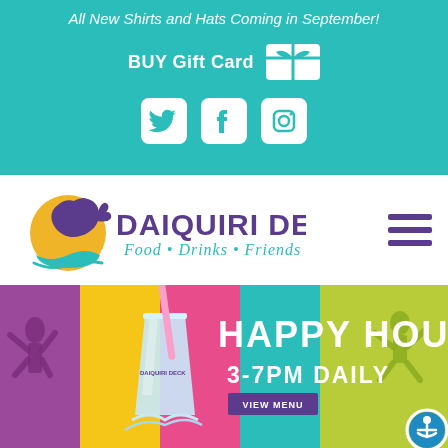All New Shirts and Hats Coming in September!
BUY Gift Card
[Figure (infographic): Teal banner with Twitter, Facebook, and Instagram social media icons in white rounded square buttons]
[Figure (logo): Daiquiri Deck logo — purple dolphin leaping over yellow sun with teal waves, purple bold text DAIQUIRI DECK, teal italic script Food • Drinks • Friends]
[Figure (infographic): Happy Hour promotional banner with colorful silhouettes background, blue daiquiri cup with pink straw, HAPPY HOUR 3-7PM DAILY text, VIEW MENU button]
VIEW MENU